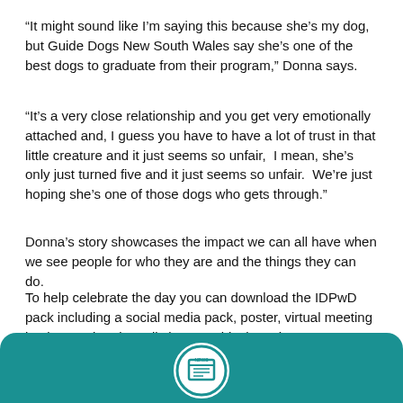“It might sound like I’m saying this because she’s my dog, but Guide Dogs New South Wales say she’s one of the best dogs to graduate from their program,” Donna says.
“It’s a very close relationship and you get very emotionally attached and, I guess you have to have a lot of trust in that little creature and it just seems so unfair,  I mean, she’s only just turned five and it just seems so unfair.  We’re just hoping she’s one of those dogs who gets through.”
Donna’s story showcases the impact we can all have when we see people for who they are and the things they can do.
To help celebrate the day you can download the IDPwD pack including a social media pack, poster, virtual meeting background and email signature block on the IDPwD page.
[Figure (logo): Teal footer bar with a circular news/newsletter icon centered at the bottom]